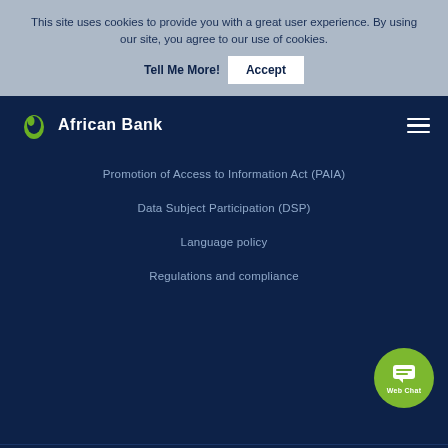This site uses cookies to provide you with a great user experience. By using our site, you agree to our use of cookies.
Tell Me More!
Accept
[Figure (logo): African Bank logo with green droplet icon and white text 'African Bank']
Promotion of Access to Information Act (PAIA)
Data Subject Participation (DSP)
Language policy
Regulations and compliance
[Figure (illustration): Green circle Web Chat button with chat icon]
MY AFRICAN BANK